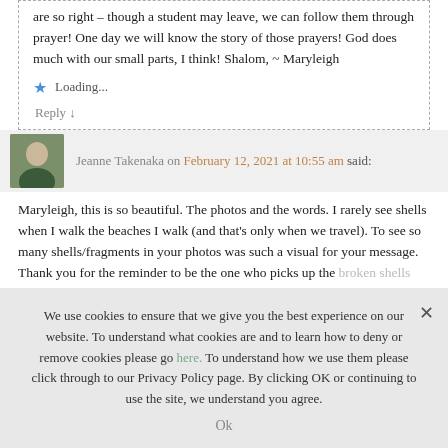are so right – though a student may leave, we can follow them through prayer! One day we will know the story of those prayers! God does much with our small parts, I think! Shalom, ~ Maryleigh
Loading...
Reply ↓
Jeanne Takenaka on February 12, 2021 at 10:55 am said:
Maryleigh, this is so beautiful. The photos and the words. I rarely see shells when I walk the beaches I walk (and that's only when we travel). To see so many shells/fragments in your photos was such a visual for your message. Thank you for the reminder to be the one who picks up the broken shells that wash up on the shores of my life and to share my story
We use cookies to ensure that we give you the best experience on our website. To understand what cookies are and to learn how to deny or remove cookies please go here. To understand how we use them please click through to our Privacy Policy page. By clicking OK or continuing to use the site, we understand you agree.
Ok